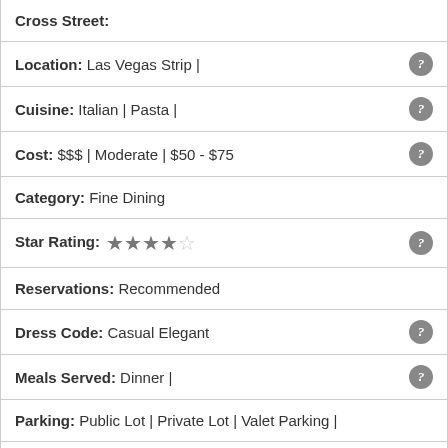Cross Street:
Location: Las Vegas Strip |
Cuisine: Italian | Pasta |
Cost: $$$ | Moderate | $50 - $75
Category: Fine Dining
Star Rating: ★★★★☆
Reservations: Recommended
Dress Code: Casual Elegant
Meals Served: Dinner |
Parking: Public Lot | Private Lot | Valet Parking |
Payment Options: VISA |